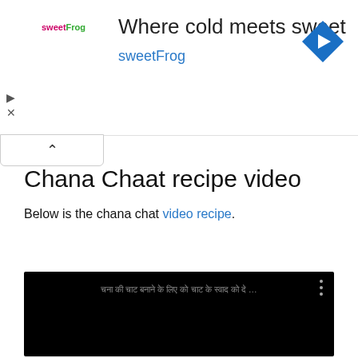[Figure (other): sweetFrog advertisement banner: 'Where cold meets sweet' with sweetFrog logo and blue diamond arrow icon]
Chana Chaat recipe video
Below is the chana chat video recipe.
[Figure (screenshot): Embedded video player with black background showing Hindi text and three-dot menu icon]